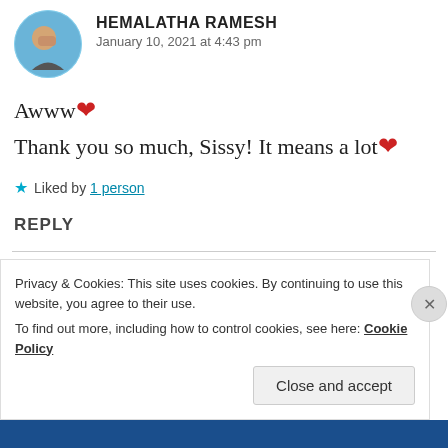[Figure (photo): Round avatar photo of Hemalatha Ramesh]
HEMALATHA RAMESH
January 10, 2021 at 4:43 pm
Awww❤
Thank you so much, Sissy! It means a lot❤
★ Liked by 1 person
REPLY
[Figure (photo): Round avatar illustration of Asthaisha]
ASTHAISHA
Privacy & Cookies: This site uses cookies. By continuing to use this website, you agree to their use.
To find out more, including how to control cookies, see here: Cookie Policy
Close and accept